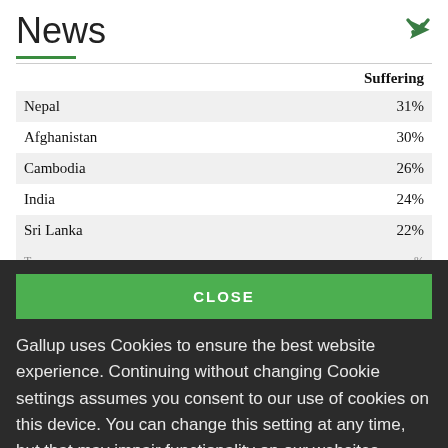News
|  | Suffering |
| --- | --- |
| Nepal | 31% |
| Afghanistan | 30% |
| Cambodia | 26% |
| India | 24% |
| Sri Lanka | 22% |
| [partial row] | …% |
CLOSE
Gallup uses Cookies to ensure the best website experience. Continuing without changing Cookie settings assumes you consent to our use of cookies on this device. You can change this setting at any time, but that may impair functionality on our websites.
Privacy Statement   Site Terms of Use and Sale
Product Terms of Use   Adjust your cookie settings.